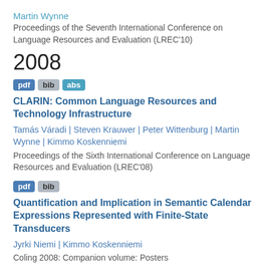Martin Wynne
Proceedings of the Seventh International Conference on Language Resources and Evaluation (LREC'10)
2008
pdf bib abs
CLARIN: Common Language Resources and Technology Infrastructure
Tamás Váradi | Steven Krauwer | Peter Wittenburg | Martin Wynne | Kimmo Koskenniemi
Proceedings of the Sixth International Conference on Language Resources and Evaluation (LREC'08)
pdf bib
Quantification and Implication in Semantic Calendar Expressions Represented with Finite-State Transducers
Jyrki Niemi | Kimmo Koskenniemi
Coling 2008: Companion volume: Posters